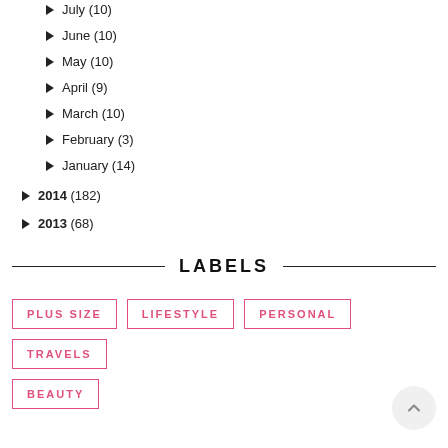► July (10)
► June (10)
► May (10)
► April (9)
► March (10)
► February (3)
► January (14)
► 2014 (182)
► 2013 (68)
LABELS
PLUS SIZE
LIFESTYLE
PERSONAL
TRAVELS
BEAUTY